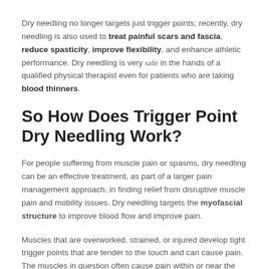Dry needling no longer targets just trigger points; recently, dry needling is also used to treat painful scars and fascia, reduce spasticity, improve flexibility, and enhance athletic performance. Dry needling is very safe in the hands of a qualified physical therapist even for patients who are taking blood thinners.
So How Does Trigger Point Dry Needling Work?
For people suffering from muscle pain or spasms, dry needling can be an effective treatment, as part of a larger pain management approach, in finding relief from disruptive muscle pain and mobility issues. Dry needling targets the myofascial structure to improve blood flow and improve pain.
Muscles that are overworked, strained, or injured develop tight trigger points that are tender to the touch and can cause pain. The muscles in question often cause pain within or near the action in...